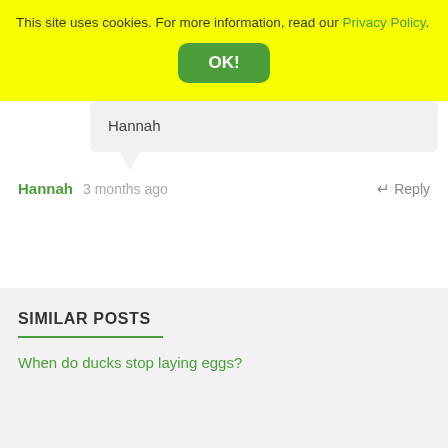This site uses cookies. For more information, read our Privacy Policy.
OK!
Hannah
Hannah  3 months ago  ↵ Reply
SIMILAR POSTS
When do ducks stop laying eggs?